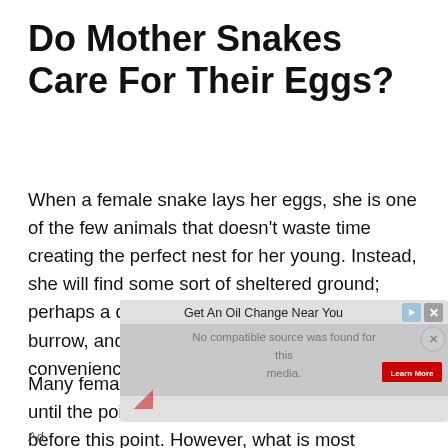Do Mother Snakes Care For Their Eggs?
When a female snake lays her eggs, she is one of the few animals that doesn’t waste time creating the perfect nest for her young. Instead, she will find some sort of sheltered ground; perhaps a disused termite nest or a shady burrow, and lay her eggs here. She’s all about convenience.
Many females will remain with their eggs up until the point of hatching but some will leave before this point. However, what is most interesting is that
[Figure (other): Advertisement overlay showing 'Get An Oil Change Near You' ad with a 'Learn More' red button and video player area with 'No compatible source was found for this media' message. An 'Ad' label is shown at bottom left.]